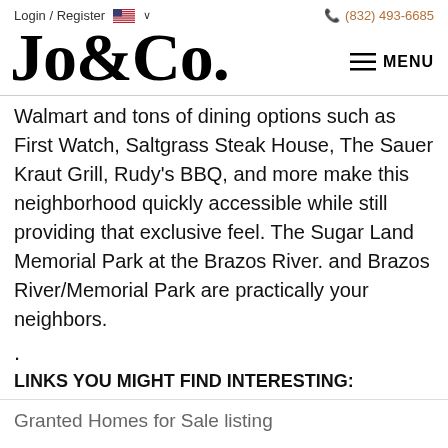Login / Register   🇺🇸 ∨   (832) 493-6685
Jo&Co.
Walmart and tons of dining options such as First Watch, Saltgrass Steak House, The Sauer Kraut Grill, Rudy's BBQ, and more make this neighborhood quickly accessible while still providing that exclusive feel. The Sugar Land Memorial Park at the Brazos River. and Brazos River/Memorial Park are practically your neighbors.
.
LINKS YOU MIGHT FIND INTERESTING:
Granted Homes for Sale listing